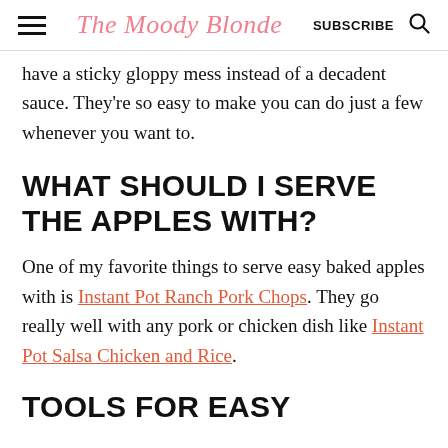The Moody Blonde | SUBSCRIBE
have a sticky gloppy mess instead of a decadent sauce. They're so easy to make you can do just a few whenever you want to.
WHAT SHOULD I SERVE THE APPLES WITH?
One of my favorite things to serve easy baked apples with is Instant Pot Ranch Pork Chops. They go really well with any pork or chicken dish like Instant Pot Salsa Chicken and Rice.
TOOLS FOR EASY